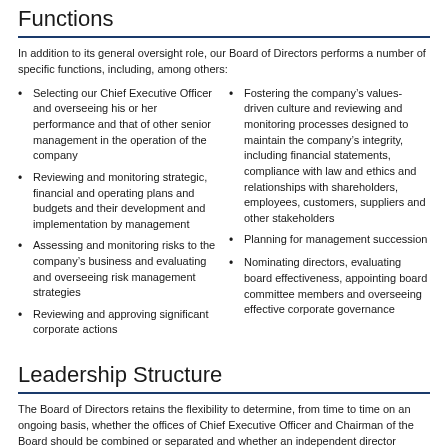Functions
In addition to its general oversight role, our Board of Directors performs a number of specific functions, including, among others:
Selecting our Chief Executive Officer and overseeing his or her performance and that of other senior management in the operation of the company
Reviewing and monitoring strategic, financial and operating plans and budgets and their development and implementation by management
Assessing and monitoring risks to the company's business and evaluating and overseeing risk management strategies
Reviewing and approving significant corporate actions
Fostering the company’s values-driven culture and reviewing and monitoring processes designed to maintain the company’s integrity, including financial statements, compliance with law and ethics and relationships with shareholders, employees, customers, suppliers and other stakeholders
Planning for management succession
Nominating directors, evaluating board effectiveness, appointing board committee members and overseeing effective corporate governance
Leadership Structure
The Board of Directors retains the flexibility to determine, from time to time on an ongoing basis, whether the offices of Chief Executive Officer and Chairman of the Board should be combined or separated and whether an independent director should serve as Chairman of